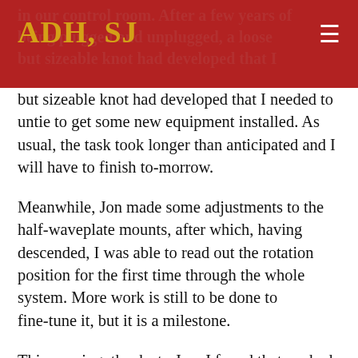ADH, SJ
but sizeable knot had developed that I needed to untie to get some new equipment installed. As usual, the task took longer than anticipated and I will have to finish to-morrow.
Meanwhile, Jon made some adjustments to the half-waveplate mounts, after which, having descended, I was able to read out the rotation position for the first time through the whole system. More work is still to be done to fine-tune it, but it is a milestone.
This evening, thanks to Jon, I found that we had some gnocchi in the kitchen. It was a great end to the day—for Jon and me, at